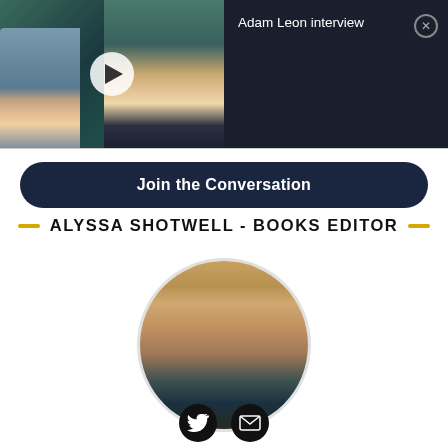[Figure (screenshot): Video player showing two people on a video call, with a dark panel on the right showing title 'Adam Leon interview' and a close button]
Adam Leon interview
Join the Conversation
ALYSSA SHOTWELL - BOOKS EDITOR
[Figure (photo): Circular cropped headshot photo of Alyssa Shotwell, a woman with dark hair pulled up, smiling slightly, wearing a dark top, against a warm-toned background]
[Figure (other): Social media icons: Twitter bird icon and email/envelope icon, both circular black icons]